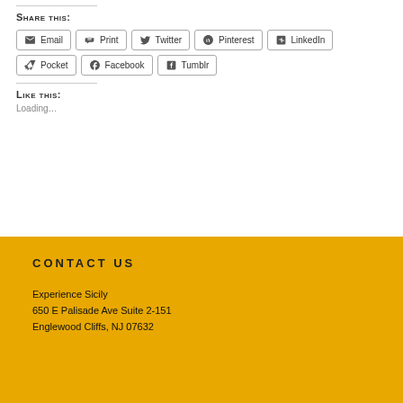Share this:
Email
Print
Twitter
Pinterest
LinkedIn
Pocket
Facebook
Tumblr
Like this:
Loading...
CONTACT US
Experience Sicily
650 E Palisade Ave Suite 2-151
Englewood Cliffs, NJ 07632